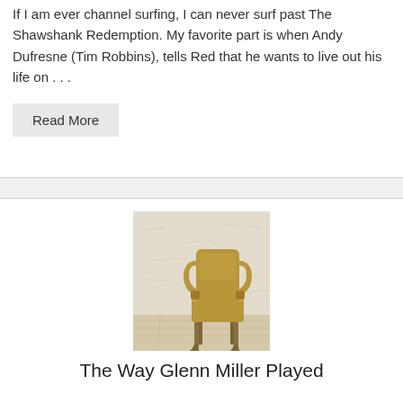If I am ever channel surfing, I can never surf past The Shawshank Redemption. My favorite part is when Andy Dufresne (Tim Robbins), tells Red that he wants to live out his life on . . .
Read More
[Figure (photo): A vintage gold/tan wingback armchair against a distressed white brick wall with light wooden plank flooring]
The Way Glenn Miller Played